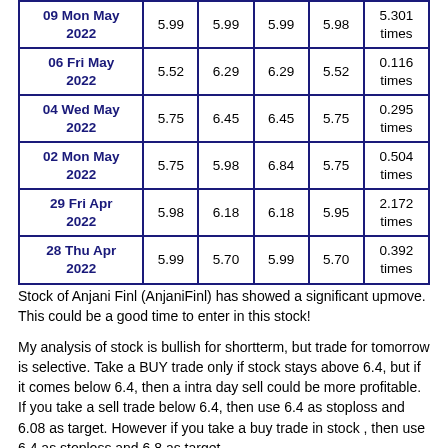| Date | Open | Close | High | Low | Volume |
| --- | --- | --- | --- | --- | --- |
| 09 Mon May 2022 | 5.99 | 5.99 | 5.99 | 5.98 | 5.301 times |
| 06 Fri May 2022 | 5.52 | 6.29 | 6.29 | 5.52 | 0.116 times |
| 04 Wed May 2022 | 5.75 | 6.45 | 6.45 | 5.75 | 0.295 times |
| 02 Mon May 2022 | 5.75 | 5.98 | 6.84 | 5.75 | 0.504 times |
| 29 Fri Apr 2022 | 5.98 | 6.18 | 6.18 | 5.95 | 2.172 times |
| 28 Thu Apr 2022 | 5.99 | 5.70 | 5.99 | 5.70 | 0.392 times |
Stock of Anjani Finl (AnjaniFinl) has showed a significant upmove. This could be a good time to enter in this stock!
My analysis of stock is bullish for shortterm, but trade for tomorrow is selective. Take a BUY trade only if stock stays above 6.4, but if it comes below 6.4, then a intra day sell could be more profitable.
If you take a sell trade below 6.4, then use 6.4 as stoploss and 6.08 as target. However if you take a buy trade in stock , then use 6.4 as stoploss and 6.8 as target.